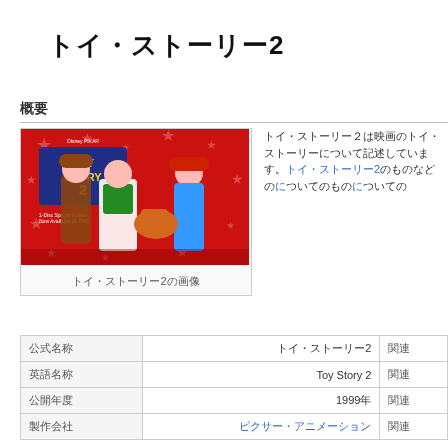トイ・ストーリー2
概要
[Figure (photo): Toy Story 2 movie promotional image with Woody, Buzz Lightyear, Jessie, and Bullseye on red background with stars]
トイ・ストーリー2の画像
トイ・ストーリー２は映画のトイ・ストーリーについて記述しています。[リンク][リンク]のものなどのについてのもの[リンク]についての[リンク]についての
| ラベル | 値 | その他 |
| --- | --- | --- |
| 公式名称 | トイ・ストーリー2 | 関連 |
| 英語名称 | Toy Story 2 | 関連 |
| 公開年度 | 1999年 | 関連 |
| 製作会社 | ピクサー・アニメーション | 関連 |